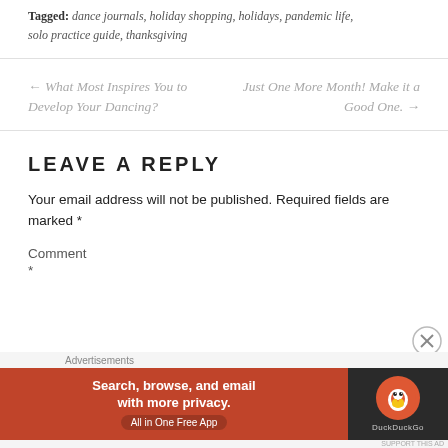Tagged: dance journals, holiday shopping, holidays, pandemic life, solo practice guide, thanksgiving
← What Most Inspires You to Develop Your Dancing?
Just One More Month! Make it a Good One. →
LEAVE A REPLY
Your email address will not be published. Required fields are marked *
Comment
*
[Figure (infographic): DuckDuckGo advertisement banner: orange section with text 'Search, browse, and email with more privacy. All in One Free App', dark section with DuckDuckGo logo circle]